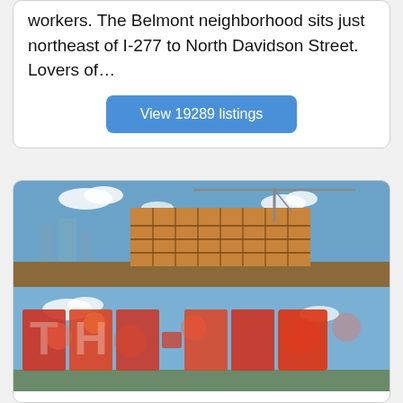workers. The Belmont neighborhood sits just northeast of I-277 to North Davidson Street. Lovers of…
View 19289 listings
[Figure (photo): Construction photo of a multi-story building frame with a crane, with city skyline in background]
[Figure (photo): Large decorative letters spelling 'THE END' with red floral/paisley patterns against blue sky]
Charlotte South End: Dilworth, South Park, and Myers Park